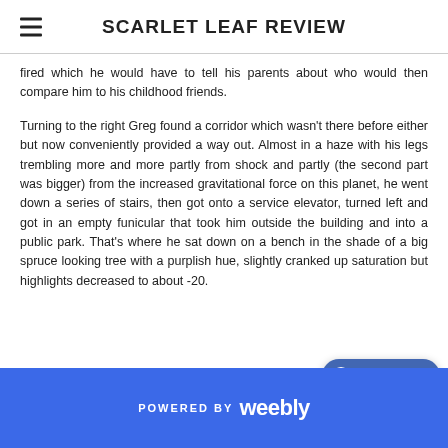SCARLET LEAF REVIEW
fired which he would have to tell his parents about who would then compare him to his childhood friends.
Turning to the right Greg found a corridor which wasn't there before either but now conveniently provided a way out. Almost in a haze with his legs trembling more and more partly from shock and partly (the second part was bigger) from the increased gravitational force on this planet, he went down a series of stairs, then got onto a service elevator, turned left and got in an empty funicular that took him outside the building and into a public park. That's where he sat down on a bench in the shade of a big spruce looking tree with a purplish hue, slightly cranked up saturation but highlights decreased to about -20.
POWERED BY weebly